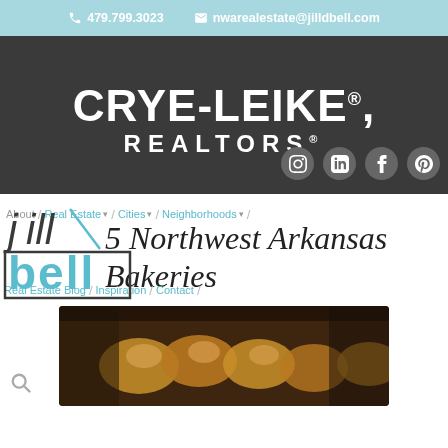479.799.3023  nwarealestate@jilldbell.com
[Figure (logo): Crye-Leike, Realtors logo on dark gray background with social media icons (Instagram, LinkedIn, Facebook, Pinterest)]
[Figure (logo): Jill Bell teal logo mark]
About / Real Estate v / Cities v / Neighborhoods v /
5 Northwest Arkansas Bakeries
Real Estate Blog / Inspiration / Contact /
[Figure (photo): Close-up photo of baked goods (pastries/rolls) on a dark background]